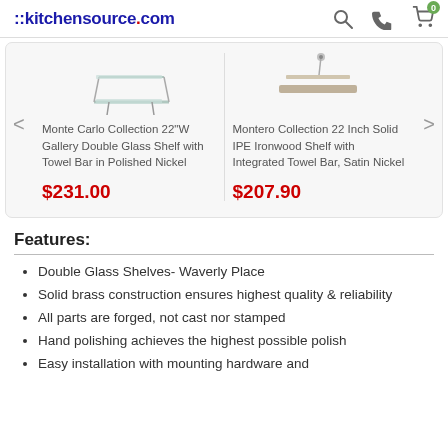::kitchensource.com
[Figure (screenshot): Product carousel showing two shelf products: Monte Carlo Collection 22"W Gallery Double Glass Shelf with Towel Bar in Polished Nickel at $231.00, and Montero Collection 22 Inch Solid IPE Ironwood Shelf with Integrated Towel Bar, Satin Nickel at $207.90]
Features:
Double Glass Shelves- Waverly Place
Solid brass construction ensures highest quality & reliability
All parts are forged, not cast nor stamped
Hand polishing achieves the highest possible polish
Easy installation with mounting hardware and